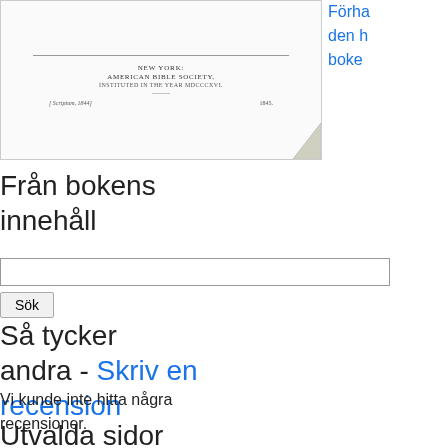[Figure (illustration): Book cover thumbnail for a publication by American Bible Society, New York, 1845, with small text and a dog-eared corner effect]
Förha den h boke
Från bokens innehåll
Sök
Så tycker andra - Skriv en recension
Vi kunde inte hitta några recensioner.
Utvalda sidor